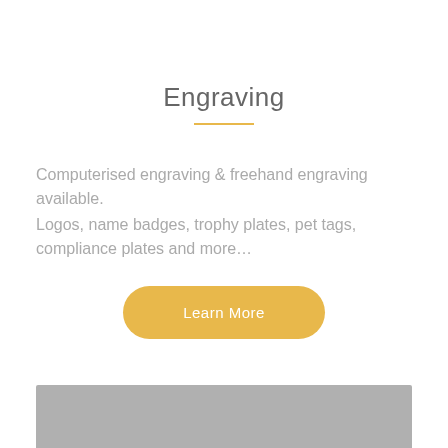Engraving
Computerised engraving & freehand engraving available.
Logos, name badges, trophy plates, pet tags, compliance plates and more…
Learn More
[Figure (photo): Gray rectangular banner/image at the bottom of the page]